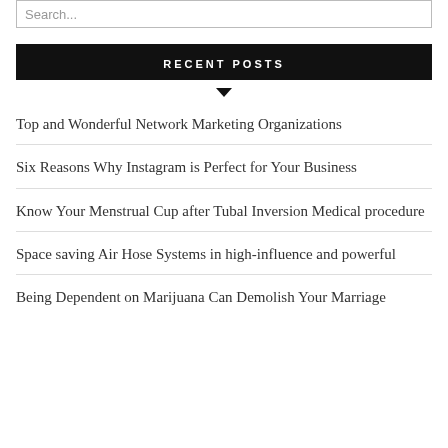RECENT POSTS
Top and Wonderful Network Marketing Organizations
Six Reasons Why Instagram is Perfect for Your Business
Know Your Menstrual Cup after Tubal Inversion Medical procedure
Space saving Air Hose Systems in high-influence and powerful
Being Dependent on Marijuana Can Demolish Your Marriage